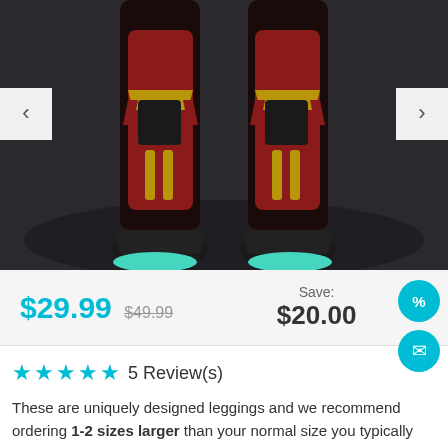[Figure (photo): Product photo showing lower legs and feet of a person wearing dark compression leggings with red and gold Iron Man-style design, with black and teal sneakers, on a dark background. Navigation arrows on left and right sides.]
$29.99  $49.99   Save: $20.00
★★★★★ 5 Review(s)
These are uniquely designed leggings and we recommend ordering 1-2 sizes larger than your normal size you typically wear. i.e. if you usually wear leggings in size L, we